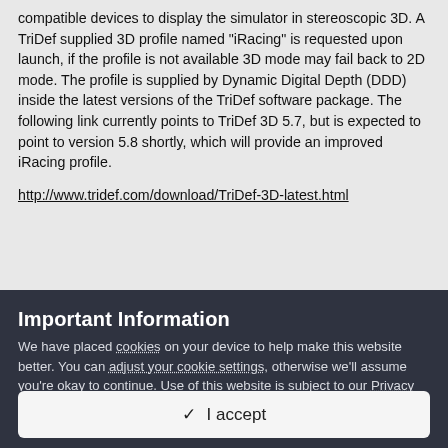screen. When checked, it should enable TriDef 3D compatible devices to display the simulator in stereoscopic 3D. A TriDef supplied 3D profile named "iRacing" is requested upon launch, if the profile is not available 3D mode may fail back to 2D mode. The profile is supplied by Dynamic Digital Depth (DDD) inside the latest versions of the TriDef software package. The following link currently points to TriDef 3D 5.7, but is expected to point to version 5.8 shortly, which will provide an improved iRacing profile.
http://www.tridef.com/download/TriDef-3D-latest.html
Important Information
We have placed cookies on your device to help make this website better. You can adjust your cookie settings, otherwise we'll assume you're okay to continue. Use of this website is subject to our Privacy Policy, Terms of Use, and Guidelines.
✓  I accept